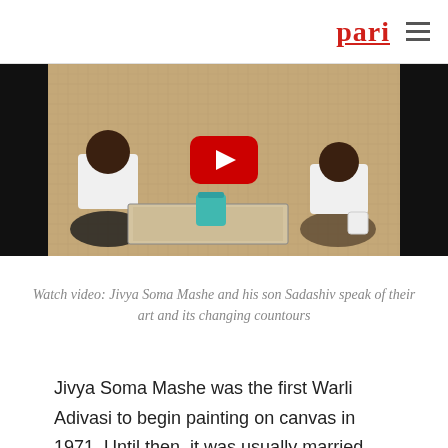pari
[Figure (screenshot): Video thumbnail showing two men sitting on the floor working on a Warli painting, with a YouTube play button overlay in the center.]
Watch video: Jivya Soma Mashe and his son Sadashiv speak of their art and its changing countours
Jivya Soma Mashe was the first Warli Adivasi to begin painting on canvas in 1971. Until then, it was usually married women in the community who traditionally practiced this art form.